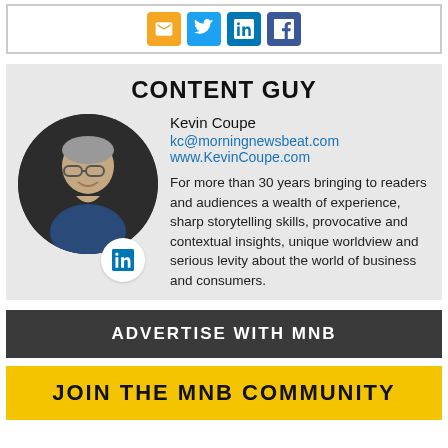[Figure (other): Social media icon buttons: email (orange), Twitter (blue), LinkedIn (dark blue), Facebook (dark blue)]
CONTENT GUY
[Figure (photo): Circular portrait photo of Kevin Coupe, a middle-aged man with grey hair and glasses, smiling, with a LinkedIn badge below]
Kevin Coupe
kc@morningnewsbeat.com
www.KevinCoupe.com

For more than 30 years bringing to readers and audiences a wealth of experience, sharp storytelling skills, provocative and contextual insights, unique worldview and serious levity about the world of business and consumers.
ADVERTISE WITH MNB
JOIN THE MNB COMMUNITY